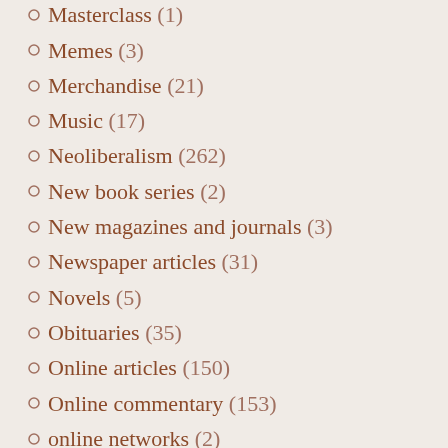Manuscripts (1)
Masterclass (1)
Memes (3)
Merchandise (21)
Music (17)
Neoliberalism (262)
New book series (2)
New magazines and journals (3)
Newspaper articles (31)
Novels (5)
Obituaries (35)
Online articles (150)
Online commentary (153)
online networks (2)